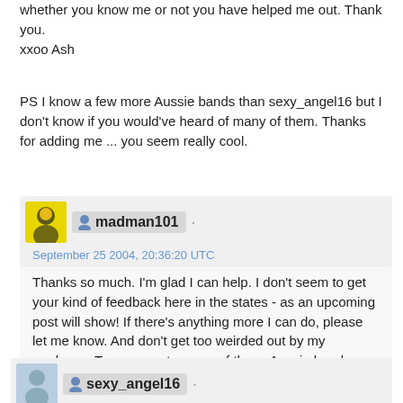whether you know me or not you have helped me out. Thank you.
xxoo Ash
PS I know a few more Aussie bands than sexy_angel16 but I don't know if you would've heard of many of them. Thanks for adding me ... you seem really cool.
madman101 · September 25 2004, 20:36:20 UTC
Thanks so much. I'm glad I can help. I don't seem to get your kind of feedback here in the states - as an upcoming post will show! If there's anything more I can do, please let me know. And don't get too weirded out by my madness. Turn me on to some of those Aussie bands. G'day mate.
sexy_angel16 · September 25 2004, 02:22:25 UTC